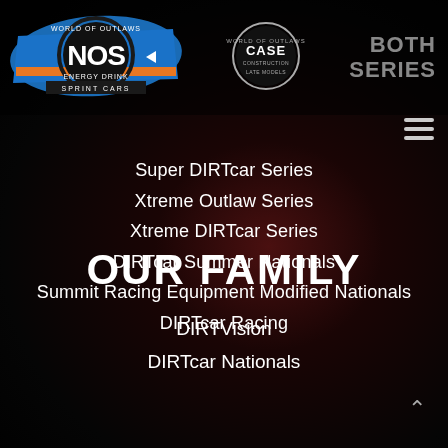[Figure (logo): World of Outlaws NOS Energy Drink Sprint Cars logo — blue oval with NOS branding and orange/black brush strokes]
[Figure (logo): World of Outlaws CASE Construction Late Models circular logo]
BOTH SERIES
Super DIRTcar Series
Xtreme Outlaw Series
Xtreme DIRTcar Series
DIRTcar Summer Nationals
Summit Racing Equipment Modified Nationals
DIRTcar Racing
OUR FAMILY
DIRTVision
DIRTcar Nationals